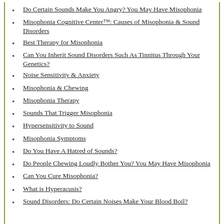Do Certain Sounds Make You Angry? You May Have Misophonia
Misophonia Cognitive Center™: Causes of Misophonia & Sound Disorders
Best Therapy for Misophonia
Can You Inherit Sound Disorders Such As Tinnitus Through Your Genetics?
Noise Sensitivity & Anxiety
Misophonia & Chewing
Misophonia Therapy
Sounds That Trigger Misophonia
Hypersensitivity to Sound
Misophonia Symptoms
Do You Have A Hatred of Sounds?
Do People Chewing Loudly Bother You? You May Have Misophonia
Can You Cure Misophonia?
What is Hyperacusis?
Sound Disorders: Do Certain Noises Make Your Blood Boil?